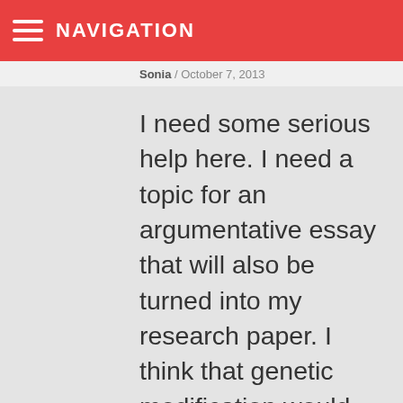NAVIGATION
Sonia / October 7, 2013
I need some serious help here. I need a topic for an argumentative essay that will also be turned into my research paper. I think that genetic modification would be interesting, but so is our dependency on technology. I'm not that good at stretching out a topic to talk about because when I write, I make a couple of sentences and that's it. I can't do a whole page or longer.